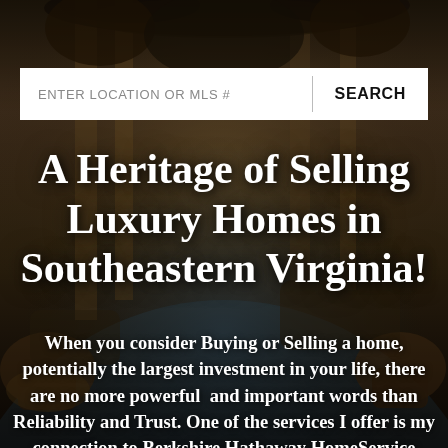[Figure (photo): Background photo of a luxury home interior with pool, columns, hanging plants, and outdoor furniture in a warm amber/brown tone]
ENTER LOCATION OR MLS #
SEARCH
A Heritage of Selling Luxury Homes in Southeastern Virginia!
When you consider Buying or Selling a home, potentially the largest investment in your life, there are no more powerful  and important words than Reliability and Trust. One of the services I offer is my connection to Berkshire Hathaway HomeService Towne Realty Luxury Collection, a marketing